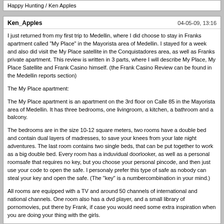Happy Hunting / Ken Apples
Ken_Apples
04-05-09, 13:16
I just returned from my first trip to Medellin, where I did choose to stay in Franks apartment called "My Place" in the Mayorista area of Medellin. I stayed for a week and also did visit the My Place satellite in the Conquistadores area, as well as Franks private apartment. This review is written in 3 parts, where I will describe My Place, My Place Satellite and Frank Casino himself. (the Frank Casino Review can be found in the Medellin reports section)

The My Place apartment:

The My Place apartment is an apartment on the 3rd floor on Calle 85 in the Mayorista area of Medellin. It has three bedrooms, one livingroom, a kitchen, a bathroom and a balcony.

The bedrooms are in the size 10-12 square meters, two rooms have a double bed and contain dual layers of madresses, to save your knees from your late night adventures. The last room contains two single beds, that can be put together to work as a big double bed. Every room has a induvidual doorlooker, as well as a personal roomsafe that requires no key, but you choose your personal pincode, and then just use your code to open the safe. I personaly prefer this type of safe as nobody can steal your key and open the safe. (The "key" is a numbercombination in your mind.)

All rooms are equipped with a TV and around 50 channels of international and national channels. One room also has a dvd player, and a small library of pornomovies, put there by Frank, if case you would need some extra inspiration when you are doing your thing with the girls.

The kitchen has a normal gasstove, a fridge and the usual stuff (knifes, forks, plates ect.)

The livingroom is equipped with sofas, dinnertable and chairs. It's big enough to hold a party for 6-8 persons with no problems. There's also a stereo in the livingroom where you can listen to radio/play cd music/mp3 or just plug in your